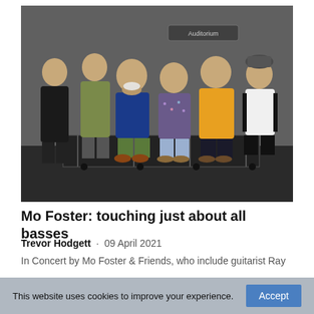[Figure (photo): Group photo of seven people (Mo Foster and Friends) sitting and standing in what appears to be an auditorium or venue backstage area. A sign reading 'Auditorium' is visible in the background. The group includes men and one woman, various ages.]
Mo Foster: touching just about all basses
Trevor Hodgett · 09 April 2021
In Concert by Mo Foster & Friends, who include guitarist Ray
This website uses cookies to improve your experience.